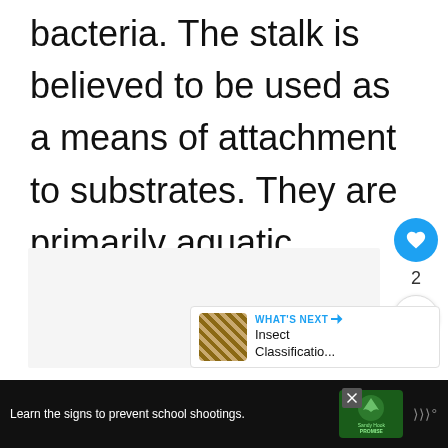bacteria. The stalk is believed to be used as a means of attachment to substrates. They are primarily aquatic aerobic chemoorganotrophs.
[Figure (screenshot): UI sidebar with heart/like button (blue circle with heart icon), like count '2', and share button (white circle with share icon)]
[Figure (screenshot): What's Next panel showing thumbnail image and text 'Insect Classificatio...']
[Figure (screenshot): Ad banner: black background with text 'Learn the signs to prevent school shootings.' Sandy Hook Promise logo and brand mark]